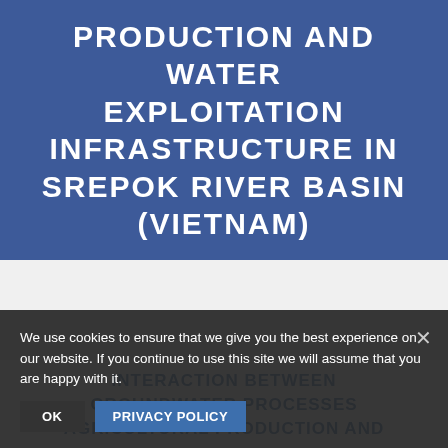PRODUCTION AND WATER EXPLOITATION INFRASTRUCTURE IN SREPOK RIVER BASIN (VIETNAM)
We use cookies to ensure that we give you the best experience on our website. If you continue to use this site we will assume that you are happy with it.
INTERACTION BETWEEN GROUNDWATER PROCESSES AGRICULTURAL PRODUCTION AND